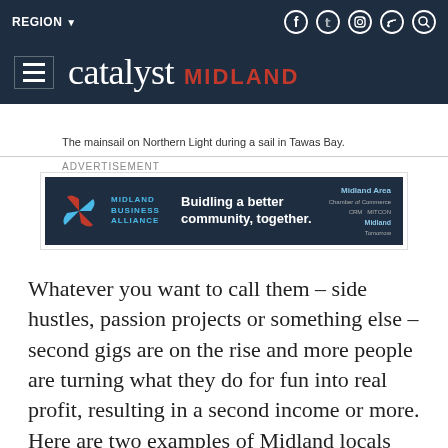REGION | catalyst MIDLAND (navigation header)
The mainsail on Northern Light during a sail in Tawas Bay.
ADVERTISEMENT
[Figure (other): Midland Business Alliance advertisement banner: 'Buidling a better community, together.' with partner logos including Midland Area Chamber of Commerce, Midland Tomorrow, CRM, and MITCON]
Whatever you want to call them – side hustles, passion projects or something else – second gigs are on the rise and more people are turning what they do for fun into real profit, resulting in a second income or more. Here are two examples of Midland locals who are putting their passions to work after 5:00.